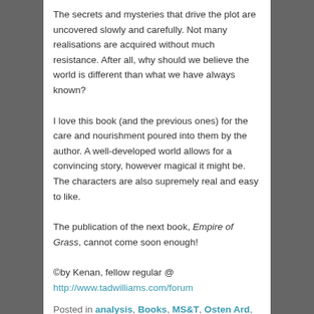The secrets and mysteries that drive the plot are uncovered slowly and carefully. Not many realisations are acquired without much resistance. After all, why should we believe the world is different than what we have always known?
I love this book (and the previous ones) for the care and nourishment poured into them by the author. A well-developed world allows for a convincing story, however magical it might be. The characters are also supremely real and easy to like.
The publication of the next book, Empire of Grass, cannot come soon enough!
©by Kenan, fellow regular @ http://www.tadwilliams.com/forum
Posted in analysis, Books, MS&T, Osten Ard, Tad Williams, The Witchwood Crown | Tagged Reviews, Tad Williams, The Witchwood Crown